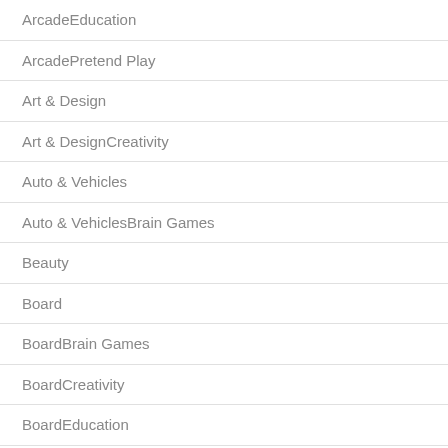ArcadeEducation
ArcadePretend Play
Art & Design
Art & DesignCreativity
Auto & Vehicles
Auto & VehiclesBrain Games
Beauty
Board
BoardBrain Games
BoardCreativity
BoardEducation